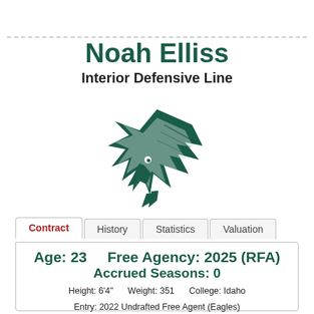Noah Elliss
Interior Defensive Line
[Figure (logo): Philadelphia Eagles logo - eagle head in dark teal and white]
Contract | History | Statistics | Valuation
Age: 23    Free Agency: 2025 (RFA)
Accrued Seasons: 0
Height: 6'4"    Weight: 351    College: Idaho
Entry: 2022 Undrafted Free Agent (Eagles)
2022 Salary Cap Charge: $433,333 (0.19% of cap)
2022 Cash Payout: $440,000 (0.18% of spending)
2022 Cash to Cap Ratio: 1.02